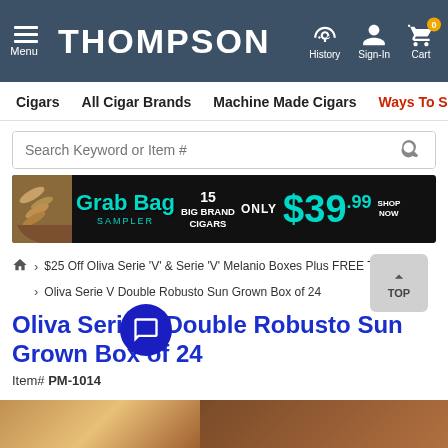THOMPSON — Menu | History | Sign-In | Cart (0)
Cigars   All Cigar Brands   Machine Made Cigars   Ways To Save
Search Keyword or Item #
[Figure (infographic): Grab Bag Sampler advertisement banner — 15 Big Brand Cigars Only $39.99 Shop Now]
$25 Off Oliva Serie 'V' & Serie 'V' Melanio Boxes Plus FREE TC Cash
Oliva Serie V Double Robusto Sun Grown Box of 24
Oliva Serie V Double Robusto Sun Grown Box of 24
Item# PM-1014
45 RATINGS   WRITE A REVIEW